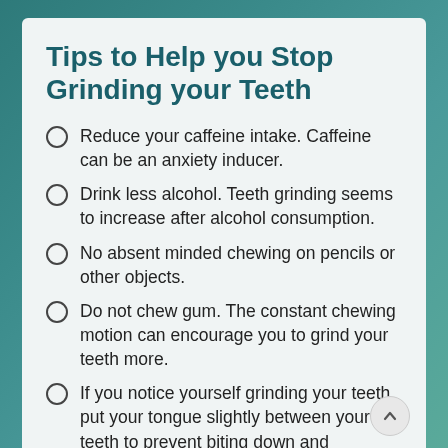Tips to Help you Stop Grinding your Teeth
Reduce your caffeine intake. Caffeine can be an anxiety inducer.
Drink less alcohol. Teeth grinding seems to increase after alcohol consumption.
No absent minded chewing on pencils or other objects.
Do not chew gum. The constant chewing motion can encourage you to grind your teeth more.
If you notice yourself grinding your teeth, put your tongue slightly between your teeth to prevent biting down and